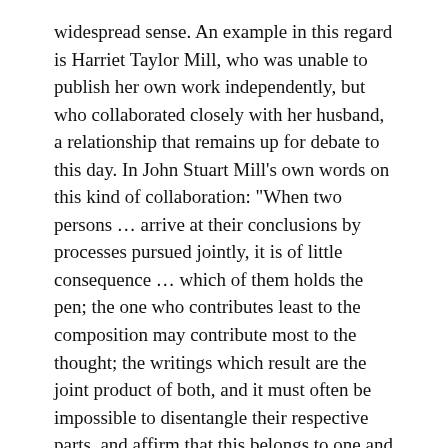widespread sense. An example in this regard is Harriet Taylor Mill, who was unable to publish her own work independently, but who collaborated closely with her husband, a relationship that remains up for debate to this day. In John Stuart Mill's own words on this kind of collaboration: "When two persons … arrive at their conclusions by processes pursued jointly, it is of little consequence … which of them holds the pen; the one who contributes least to the composition may contribute most to the thought; the writings which result are the joint product of both, and it must often be impossible to disentangle their respective parts, and affirm that this belongs to one and that to the other" (J. S. Mill, Autobiography, 251).
In Russia, the question of gender in philosophy remains pertinent and has not yet been adequately addressed; yes, women hold important posts at